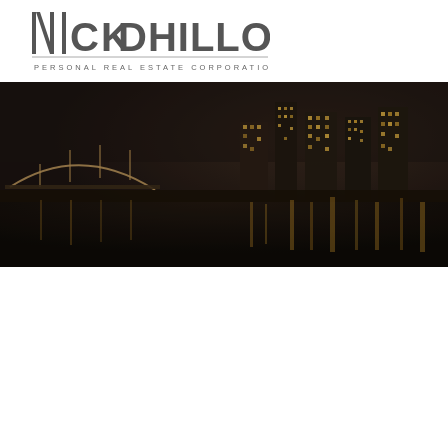[Figure (logo): Nick Dhillon Personal Real Estate Corporation logo with stylized text and city skyline photo]
[Figure (photo): Night cityscape panorama showing illuminated city skyline with bridge and waterfront reflections, dark moody tones]